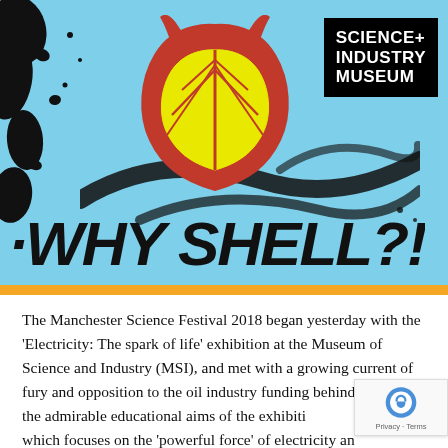[Figure (illustration): Promotional/protest image with light blue background. Features the Shell oil company logo (yellow shell shape with red outline) with devil horns painted on top. Black paint splatters on left side and diagonal brushstrokes. Text 'WHY SHELL?!' written in large black graffiti-style lettering. Science+Industry Museum logo in white text on black box in top-right corner. Orange strip at bottom.]
The Manchester Science Festival 2018 began yesterday with the 'Electricity: The spark of life' exhibition at the Museum of Science and Industry (MSI), and met with a growing current of fury and opposition to the oil industry funding behind it. Amidst the admirable educational aims of the exhibition, which focuses on the 'powerful force' of electricity and its central role in our past and present world, there lies a